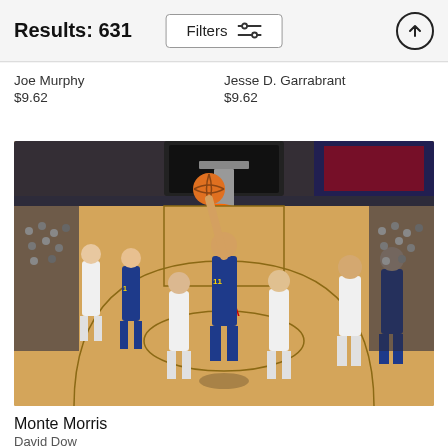Results: 631
Joe Murphy
$9.62
Jesse D. Garrabrant
$9.62
[Figure (photo): NBA basketball game photo showing Monte Morris (#11) of the Denver Nuggets driving to the basket surrounded by San Antonio Spurs players on an indoor court with NBA branding visible in the background. Photographed by David Dow.]
Monte Morris
David Dow